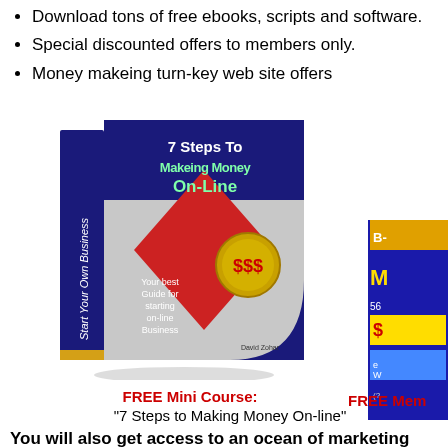Download tons of free ebooks, scripts and software.
Special discounted offers to members only.
Money makeing turn-key web site offers
[Figure (illustration): Book cover: '7 Steps To Makeing Money On-Line' with subtitle 'Your best Guide for starting on-line Business' by David Zohar. Navy blue spine with rotated text 'Start Your Own Business', red diamond shape on cover, blue corner, gold coin with $$$ symbol.]
FREE Mini Course:
FREE Mem
"7 Steps to Making Money On-line"
You will also get access to an ocean of marketing ebooks and tutorials that you can see below